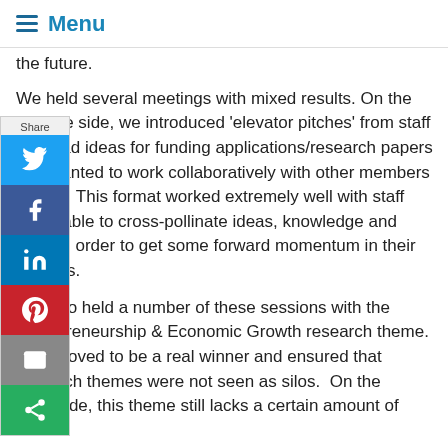Menu
the future.
We held several meetings with mixed results. On the positive side, we introduced 'elevator pitches' from staff who had ideas for funding applications/research papers and wanted to work collaboratively with other members of staff. This format worked extremely well with staff being able to cross-pollinate ideas, knowledge and skills in order to get some forward momentum in their projects.
We also held a number of these sessions with the Entrepreneurship & Economic Growth research theme. This proved to be a real winner and ensured that research themes were not seen as silos. On the downside, this theme still lacks a certain amount of